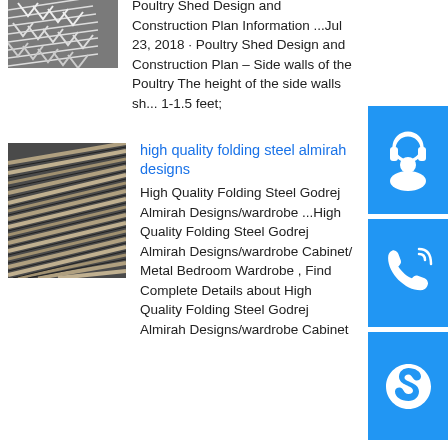[Figure (photo): Metal angle steel bars stacked]
Poultry Shed Design and Construction Plan Information ...Jul 23, 2018 · Poultry Shed Design and Construction Plan – Side walls of the Poultry The height of the side walls sh... 1-1.5 feet;
[Figure (photo): Steel H-beams or I-beams stacked together]
high quality folding steel almirah designs
High Quality Folding Steel Godrej Almirah Designs/wardrobe ...High Quality Folding Steel Godrej Almirah Designs/wardrobe Cabinet/ Metal Bedroom Wardrobe , Find Complete Details about High Quality Folding Steel Godrej Almirah Designs/wardrobe Cabinet